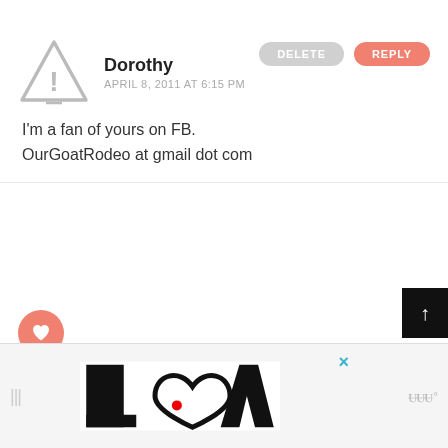Dorothy
APRIL 8, 2011 AT 6:15 PM
I'm a fan of yours on FB.
OurGoatRodeo at gmail dot com
ather
APRIL 8, 2011 AT 6:20 PM
WHAT'S NEXT → Giveaway | $50 GC...